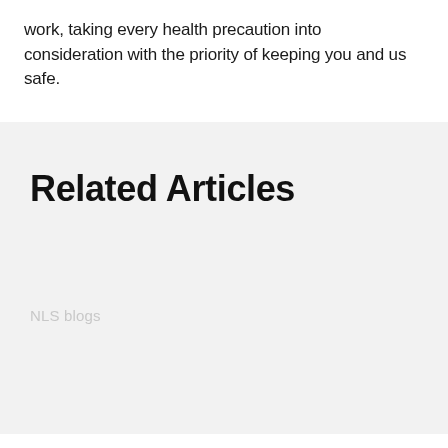work, taking every health precaution into consideration with the priority of keeping you and us safe.
Related Articles
NLS blogs